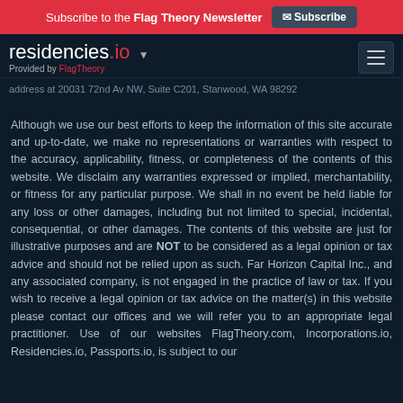Subscribe to the Flag Theory Newsletter  Subscribe
residencies.io ▼ Provided by FlagTheory
address at 20031 72nd Av NW, Suite C201, Stanwood, WA 98292
Although we use our best efforts to keep the information of this site accurate and up-to-date, we make no representations or warranties with respect to the accuracy, applicability, fitness, or completeness of the contents of this website. We disclaim any warranties expressed or implied, merchantability, or fitness for any particular purpose. We shall in no event be held liable for any loss or other damages, including but not limited to special, incidental, consequential, or other damages. The contents of this website are just for illustrative purposes and are NOT to be considered as a legal opinion or tax advice and should not be relied upon as such. Far Horizon Capital Inc., and any associated company, is not engaged in the practice of law or tax. If you wish to receive a legal opinion or tax advice on the matter(s) in this website please contact our offices and we will refer you to an appropriate legal practitioner. Use of our websites FlagTheory.com, Incorporations.io, Residencies.io, Passports.io, is subject to our